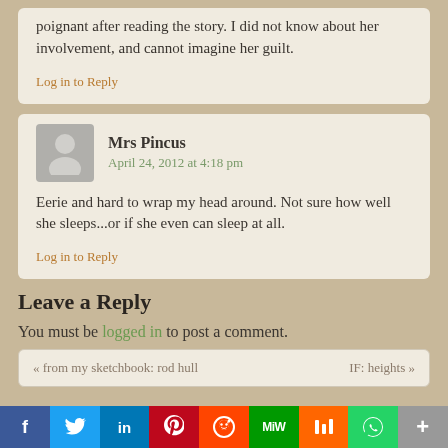poignant after reading the story. I did not know about her involvement, and cannot imagine her guilt.
Log in to Reply
Mrs Pincus
April 24, 2012 at 4:18 pm
Eerie and hard to wrap my head around. Not sure how well she sleeps...or if she even can sleep at all.
Log in to Reply
Leave a Reply
You must be logged in to post a comment.
« from my sketchbook: rod hull
IF: heights »